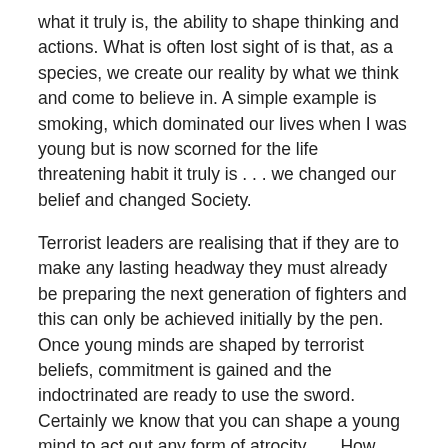what it truly is, the ability to shape thinking and actions. What is often lost sight of is that, as a species, we create our reality by what we think and come to believe in. A simple example is smoking, which dominated our lives when I was young but is now scorned for the life threatening habit it truly is . . . we changed our belief and changed Society.
Terrorist leaders are realising that if they are to make any lasting headway they must already be preparing the next generation of fighters and this can only be achieved initially by the pen. Once young minds are shaped by terrorist beliefs, commitment is gained and the indoctrinated are ready to use the sword. Certainly we know that you can shape a young mind to act out any form of atrocity . . . How many 40-year-old+ bombers have been reported?
What I find frightening here is that modern terror groups are breeding future suicide bombers of such vast numbers. It is here that terrorism could get seriously out of control, as